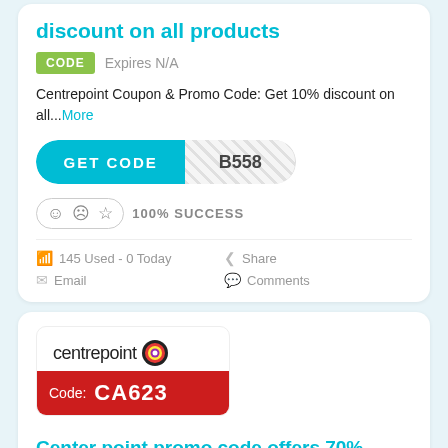discount on all products
CODE   Expires N/A
Centrepoint Coupon & Promo Code: Get 10% discount on all...More
[Figure (infographic): GET CODE button with code B558]
100% SUCCESS
145 Used - 0 Today
Share
Email
Comments
[Figure (logo): Centrepoint logo with colorful circle icon and red bar showing Code: CA623]
Center point promo code offers 70% discount on